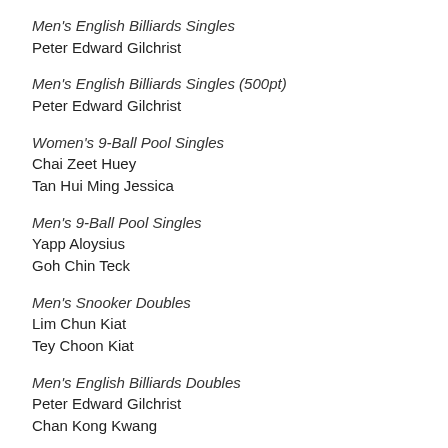Men's English Billiards Singles
Peter Edward Gilchrist
Men's English Billiards Singles (500pt)
Peter Edward Gilchrist
Women's 9-Ball Pool Singles
Chai Zeet Huey
Tan Hui Ming Jessica
Men's 9-Ball Pool Singles
Yapp Aloysius
Goh Chin Teck
Men's Snooker Doubles
Lim Chun Kiat
Tey Choon Kiat
Men's English Billiards Doubles
Peter Edward Gilchrist
Chan Kong Kwang